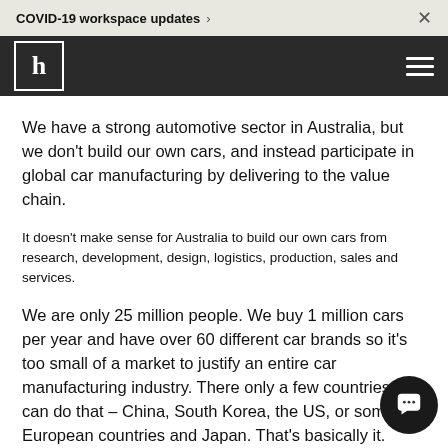COVID-19 workspace updates
[Figure (logo): Dark navigation bar with white 'h' logo box on left and hamburger menu icon on right]
We have a strong automotive sector in Australia, but we don't build our own cars, and instead participate in global car manufacturing by delivering to the value chain.
It doesn't make sense for Australia to build our own cars from research, development, design, logistics, production, sales and services.
We are only 25 million people. We buy 1 million cars per year and have over 60 different car brands so it's too small of a market to justify an entire car manufacturing industry. There only a few countries that can do that – China, South Korea, the US, or some European countries and Japan. That's basically it. Instead, we aim to participate in the global value chain by delivering elements. For example, we produce composite carbon fibre rims to the Ford Mustang which is then sold